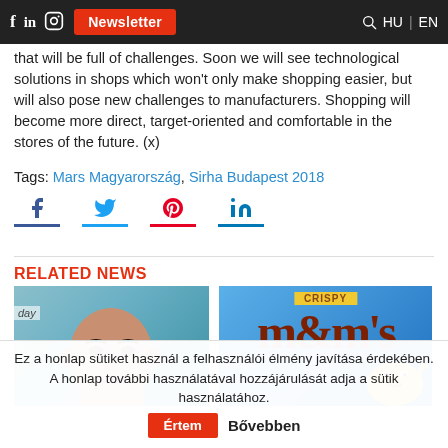Newsletter | HU | EN
that will be full of challenges. Soon we will see technological solutions in shops which won't only make shopping easier, but will also pose new challenges to manufacturers. Shopping will become more direct, target-oriented and comfortable in the stores of the future. (x)
Tags: Mars Magyarország, Sirha Budapest 2018
RELATED NEWS
[Figure (photo): Person portrait photo with teal/blue background, 'day' text visible on left side]
[Figure (photo): M&M's Crispy product packaging on blue background]
Ez a honlap sütiket használ a felhasználói élmény javítása érdekében. A honlap további használatával hozzájárulását adja a sütik használatához. | Értem | Bővebben